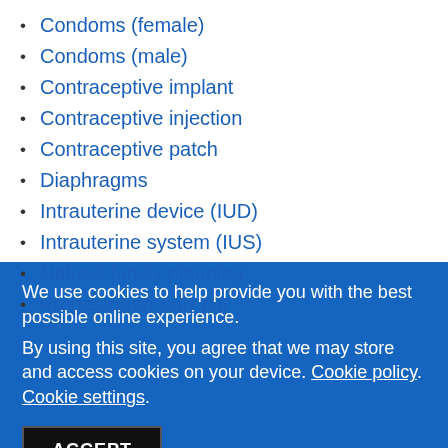Condoms (female)
Condoms (male)
Contraceptive implant
Contraceptive injection
Contraceptive patch
Diaphragms
Intrauterine device (IUD)
Intrauterine system (IUS)
Natural family planning
Progestogen-only pill
We use cookies to help provide you with the best possible online experience.
By using this site, you agree that we may store and access cookies on your device. Cookie policy. Cookie settings.
ACCEPT